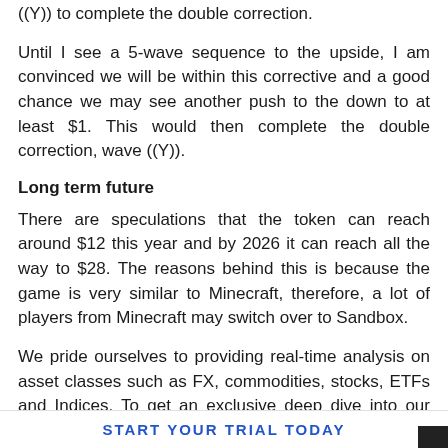((Y)) to complete the double correction.
Until I see a 5-wave sequence to the upside, I am convinced we will be within this corrective and a good chance we may see another push to the down to at least $1. This would then complete the double correction, wave ((Y)).
Long term future
There are speculations that the token can reach around $12 this year and by 2026 it can reach all the way to $28. The reasons behind this is because the game is very similar to Minecraft, therefore, a lot of players from Minecraft may switch over to Sandbox.
We pride ourselves to providing real-time analysis on asset classes such as FX, commodities, stocks, ETFs and Indices. To get an exclusive deep dive into our content, we suggest signing up to our 14 day trail! Our strategy has been proven successful within the professional world of trading.
START YOUR TRIAL TODAY